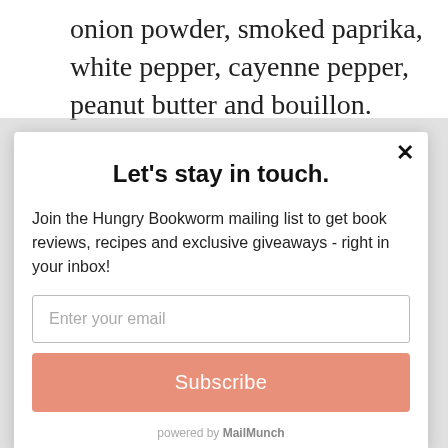onion powder, smoked paprika, white pepper, cayenne pepper, peanut butter and bouillon. [Mine formed a pretty thick paste, making it difficult to
Let's stay in touch.
Join the Hungry Bookworm mailing list to get book reviews, recipes and exclusive giveaways - right in your inbox!
Enter your email
Subscribe
powered by MailMunch